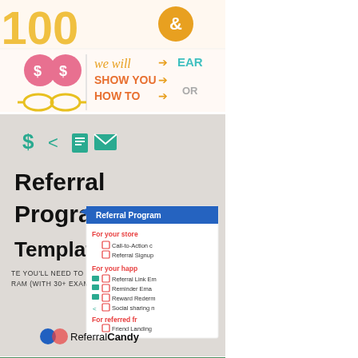[Figure (infographic): Top infographic banner partially visible showing dollar signs, eyeglasses icons, arrows, and text 'we will SHOW YOU HOW TO' with 'EAR' and 'OR' partially visible on the right side. Colorful design with pink, yellow, and teal elements.]
[Figure (infographic): Referral Program Templates infographic by ReferralCandy. Dark background with teal icons (dollar sign, share, document, email). Bold black text reads 'Referral Program Templates'. Subtitle text: 'TE YOU'LL NEED TO RUN A RAM (WITH 30+ EXAMPLES!)'. Overlapping checklist panel showing: 'Referral Program', 'For your store', 'Call-to-Action c', 'Referral Signup', 'For your happ', 'Referral Link Em', 'Reminder Ema', 'Reward Rederm', 'Social sharing n', 'For referred fr', 'Friend Landing'. ReferralCandy logo at bottom.]